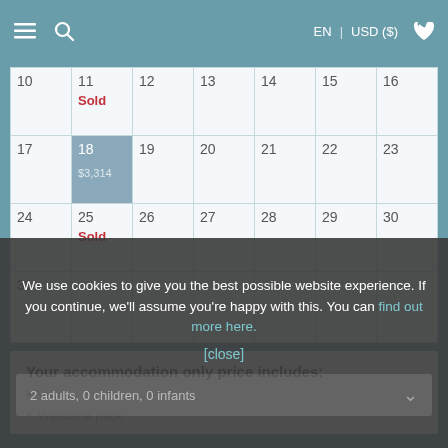EN | USD ($)
|  |  |  |  |  |  |  |
| --- | --- | --- | --- | --- | --- | --- |
| 10 | 11
Sold | 12 | 13 | 14 | 15 | 16 |
| 17 | 18
$3,314 | 19 | 20 | 21 | 22 | 23 |
| 24 | 25
Sold | 26 | 27 | 28 | 29 | 30 |
| 31 |  |  |  |  |  |  |
Your accommodation only price includes:
Villa
Welcome pack
We use cookies to give you the best possible website experience. If you continue, we'll assume you're happy with this. You can find out more here.
[close]
2 adults, 0 children, 0 infants